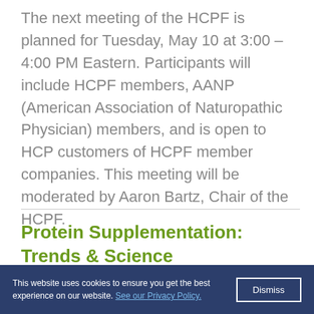The next meeting of the HCPF is planned for Tuesday, May 10 at 3:00 – 4:00 PM Eastern. Participants will include HCPF members, AANP (American Association of Naturopathic Physician) members, and is open to HCP customers of HCPF member companies. This meeting will be moderated by Aaron Bartz, Chair of the HCPF.
Protein Supplementation: Trends & Science
This website uses cookies to ensure you get the best experience on our website. See our Privacy Policy.